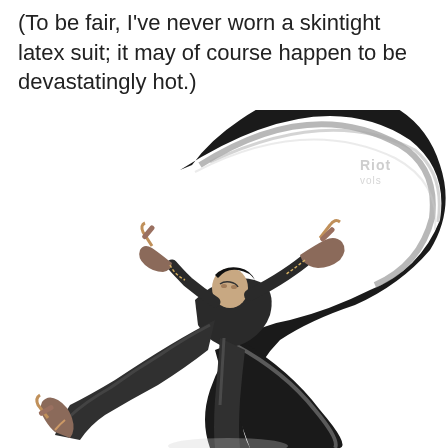(To be fair, I've never worn a skintight latex suit; it may of course happen to be devastatingly hot.)
[Figure (illustration): Bayonetta video game character in a dynamic action pose wearing a black skintight suit, holding guns in both hands and attached to her heels, with dramatic long black and white hair flowing in an arc behind her. The character is posed mid-kick with one leg raised. A watermark reading 'Riot' is visible in the upper right area of the image.]